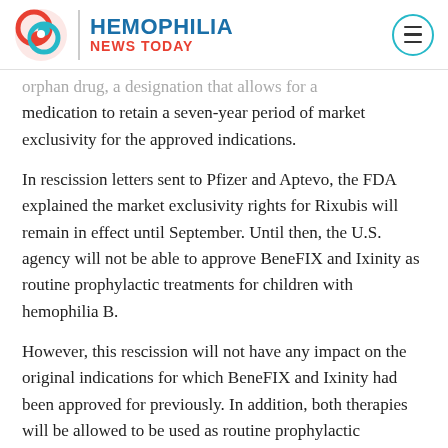HEMOPHILIA NEWS TODAY
orphan drug, a designation that allows for a medication to retain a seven-year period of market exclusivity for the approved indications.
In rescission letters sent to Pfizer and Aptevo, the FDA explained the market exclusivity rights for Rixubis will remain in effect until September. Until then, the U.S. agency will not be able to approve BeneFIX and Ixinity as routine prophylactic treatments for children with hemophilia B.
However, this rescission will not have any impact on the original indications for which BeneFIX and Ixinity had been approved for previously. In addition, both therapies will be allowed to be used as routine prophylactic treatments for adults with hemophilia B, as approved last year.
The FDA also stated the reason for the...